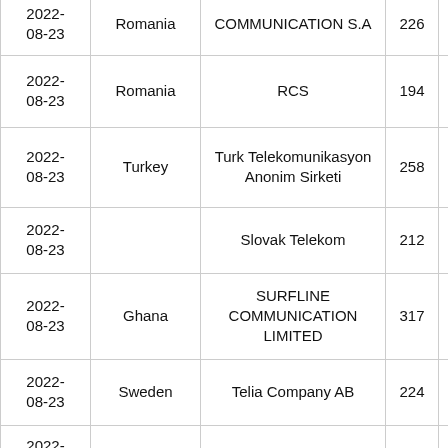| Date | Country | Operator | Number |  |
| --- | --- | --- | --- | --- |
| 2022-08-23 | Romania | COMMUNICATION S.A | 226 |  |
| 2022-08-23 | Romania | RCS | 194 |  |
| 2022-08-23 | Turkey | Turk Telekomunikasyon Anonim Sirketi | 258 |  |
| 2022-08-23 |  | Slovak Telekom | 212 |  |
| 2022-08-23 | Ghana | SURFLINE COMMUNICATION LIMITED | 317 |  |
| 2022-08-23 | Sweden | Telia Company AB | 224 |  |
| 2022-08-23 | South Africa | Vodacom | 555 |  |